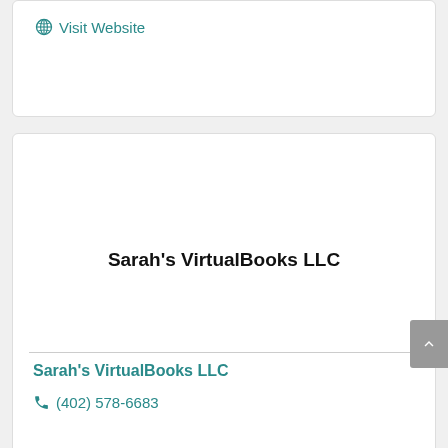Visit Website
Sarah's VirtualBooks LLC
Sarah's VirtualBooks LLC
(402) 578-6683
[Figure (photo): Partial photo visible at bottom of page]